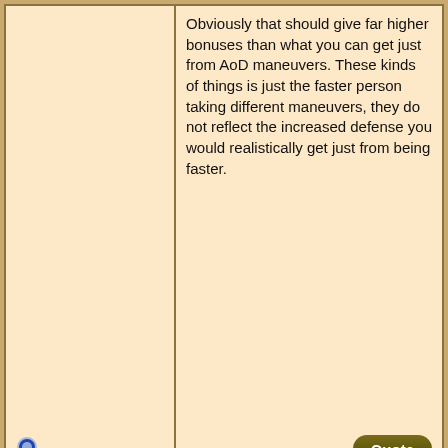Obviously that should give far higher bonuses than what you can get just from AoD maneuvers. These kinds of things is just the faster person taking different maneuvers, they do not reflect the increased defense you would realistically get just from being faster.
11-11-2017, 08:22 PM
#6
mlangsdorf
Join Date: Aug 2004
Location: Austin, TX
Re: Defense bonus and ATR
With ATR 4, you can do easily do All-Out Attack (Determined) and move up to your foe, All-Out Attack (Determined) and move to his front right, All-Out Attack (Determined) and move to his right flank, All-Out Attack (Determined), and All-Out Defense (Dodge) and take two steps away from him. Your opponent needs to make 4 defense rolls, 2 of which are at -2 and two of which are at -4 (and in low-tech melee combat, deny him the use of his shield). For most